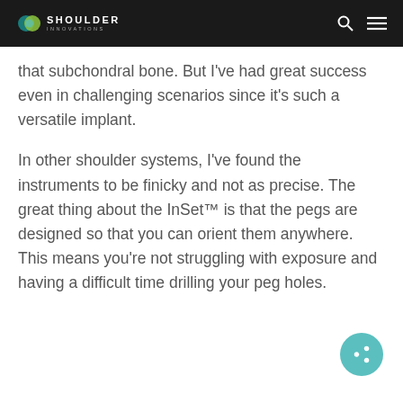Shoulder Innovations
that subchondral bone. But I've had great success even in challenging scenarios since it's such a versatile implant.
In other shoulder systems, I've found the instruments to be finicky and not as precise. The great thing about the InSet™ is that the pegs are designed so that you can orient them anywhere. This means you're not struggling with exposure and having a difficult time drilling your peg holes.